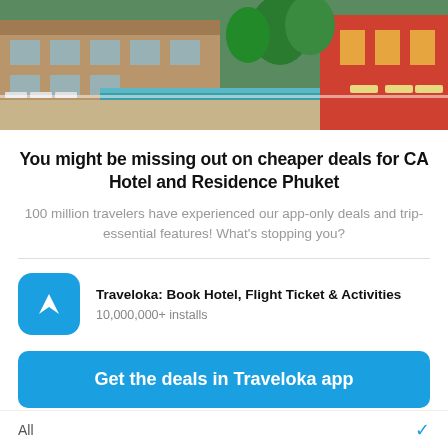[Figure (photo): Hotel exterior with pool, lounge chairs, and lush green trees in the background]
You might be missing out on cheaper deals for CA Hotel and Residence Phuket
100 million travelers have experienced our app-only deals and trip-essential features! What's stopping you?
Traveloka: Book Hotel, Flight Ticket & Activities
10,000,000+ installs
Get the deals in Traveloka app
Continue browsing in mobile site
All